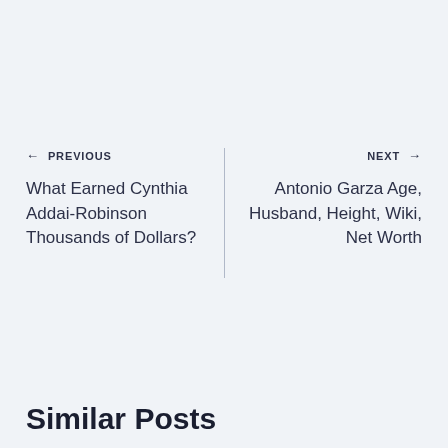← PREVIOUS
What Earned Cynthia Addai-Robinson Thousands of Dollars?
NEXT →
Antonio Garza Age, Husband, Height, Wiki, Net Worth
Similar Posts